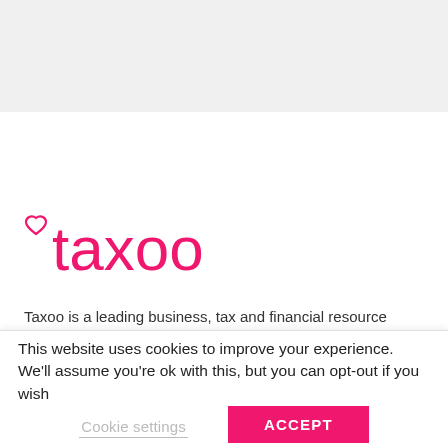[Figure (logo): Taxoo logo in pink/magenta with a heart symbol above the letter t, followed by the word taxoo in lowercase rounded font]
Taxoo is a leading business, tax and financial resource
This website uses cookies to improve your experience. We'll assume you're ok with this, but you can opt-out if you wish
Cookie settings
ACCEPT